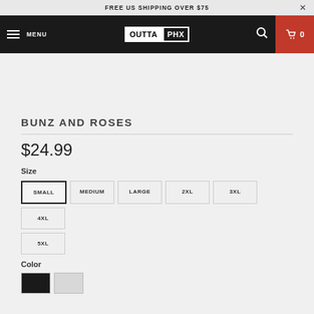FREE US SHIPPING OVER $75
MENU  OUTTA PHX  0
BUNZ AND ROSES
$24.99
Size
SMALL
MEDIUM
LARGE
2XL
3XL
4XL
5XL
Color